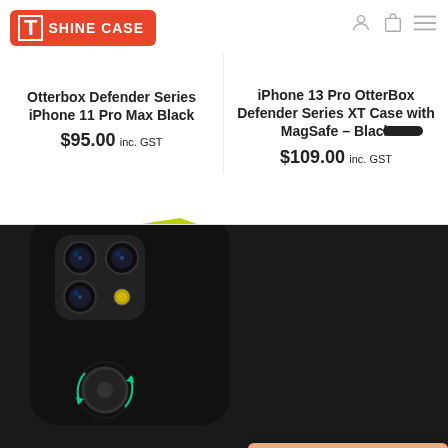[Figure (logo): T Shine Case logo badge in red/orange with white T letter and SHINE CASE text]
[Figure (illustration): User account and shopping bag nav icons and hamburger menu icon]
[Figure (photo): Partial view of black smartphone bottom edge at top of second product column]
Otterbox Defender Series iPhone 11 Pro Max Black
$95.00 inc. GST
iPhone 13 Pro OtterBox Defender Series XT Case with MagSafe – Black
$109.00 inc. GST
[Figure (photo): Black iPhone with triple camera and ring stand holder attachment with green circular arrows indicating rotation, photographed from back]
[Figure (infographic): Win a Free Gift popup modal with salmon/peach background, gift selection options, email input, and I'm Feeling Lucky button]